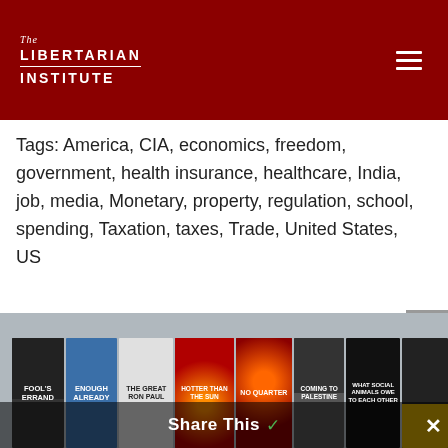The Libertarian Institute
Tags: America, CIA, economics, freedom, government, health insurance, healthcare, India, job, media, Monetary, property, regulation, school, spending, Taxation, taxes, Trade, United States, US
[Figure (photo): Row of book covers including Fool's Errand, Enough Already, The Great Ron Paul, No Quarter, What Social Animals Owe to Each Other, and others, displayed on a grey background. A 'Share This' overlay with a checkmark appears at the bottom.]